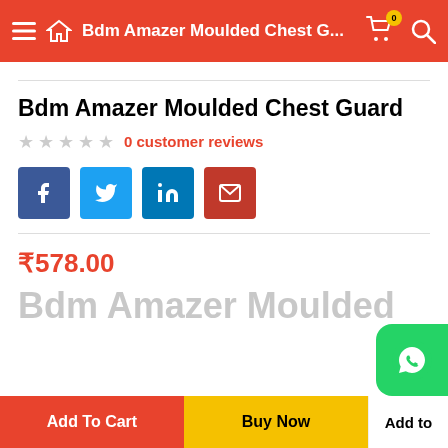Bdm Amazer Moulded Chest G...
Bdm Amazer Moulded Chest Guard
0 customer reviews
[Figure (infographic): Social share buttons: Facebook, Twitter, LinkedIn, Email]
₹578.00
Bdm Amazer Moulded
Add To Cart | Buy Now | Add to